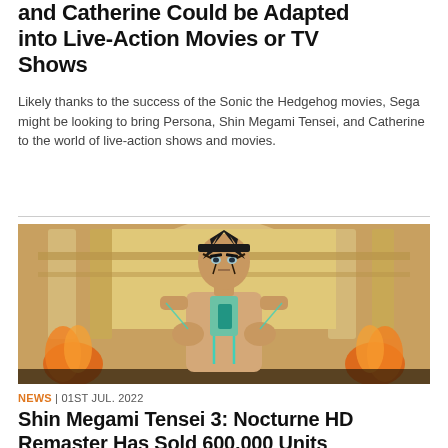and Catherine Could be Adapted into Live-Action Movies or TV Shows
Likely thanks to the success of the Sonic the Hedgehog movies, Sega might be looking to bring Persona, Shin Megami Tensei, and Catherine to the world of live-action shows and movies.
[Figure (illustration): Anime-style character with teal circuit-line markings on torso, dark spiky hair, stern expression, standing in front of a grand interior architecture with fire visible in background, cel-shaded 3D art style.]
NEWS | 01ST JUL. 2022
Shin Megami Tensei 3: Nocturne HD Remaster Has Sold 600,000 Units